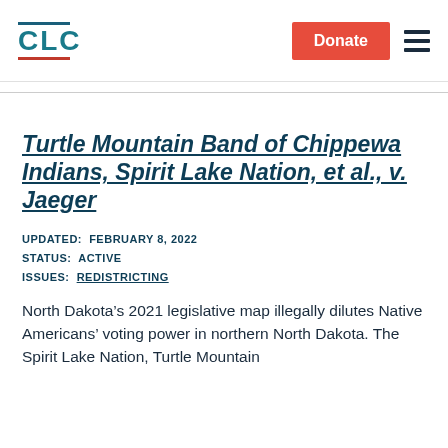CLC | Donate
Turtle Mountain Band of Chippewa Indians, Spirit Lake Nation, et al., v. Jaeger
UPDATED: FEBRUARY 8, 2022
STATUS: ACTIVE
ISSUES: REDISTRICTING
North Dakota’s 2021 legislative map illegally dilutes Native Americans’ voting power in northern North Dakota. The Spirit Lake Nation, Turtle Mountain